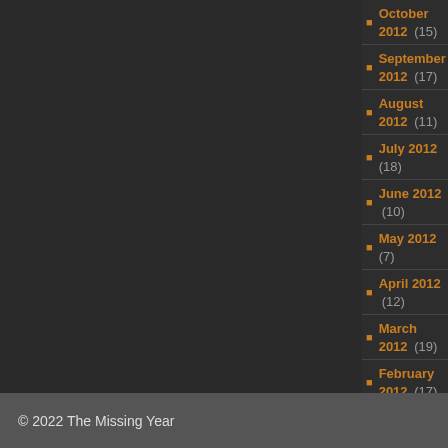October 2012 (15)
September 2012 (17)
August 2012 (11)
July 2012 (18)
June 2012 (10)
May 2012 (7)
April 2012 (12)
March 2012 (19)
February 2012 (17)
January 2012 (18)
December 2011 (22)
November 2011 (22)
October 2011 (22)
September 2011 (36)
August 2011 (38)
July 2011 (11)
© 2022 The Missing Year